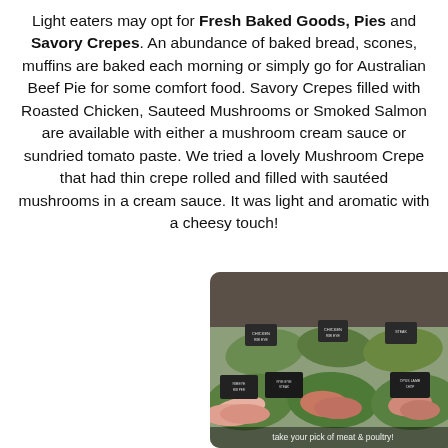Light eaters may opt for Fresh Baked Goods, Pies and Savory Crepes. An abundance of baked bread, scones, muffins are baked each morning or simply go for Australian Beef Pie for some comfort food. Savory Crepes filled with Roasted Chicken, Sauteed Mushrooms or Smoked Salmon are available with either a mushroom cream sauce or sundried tomato paste. We tried a lovely Mushroom Crepe that had thin crepe rolled and filled with sautéed mushrooms in a cream sauce. It was light and aromatic with a cheesy touch!
[Figure (photo): A display of various cuts of raw meat arranged on green banana leaves in a market or butcher display case, with small chalkboard signs labeling each cut. Text at the bottom reads 'take your pick of meat & poultry!']